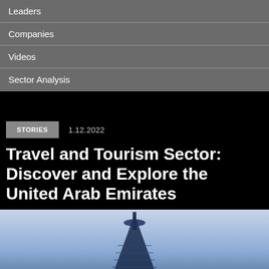Leaders
Companies
Videos
Sector Analysis
STORIES
1.12.2022
Travel and Tourism Sector: Discover and Explore the United Arab Emirates
[Figure (photo): Photo of the Burj Al Arab hotel tower in Dubai against a blue-purple dusk sky]